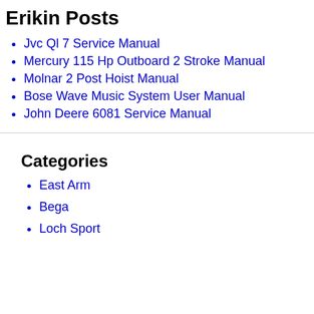Erikin Posts
Jvc Ql 7 Service Manual
Mercury 115 Hp Outboard 2 Stroke Manual
Molnar 2 Post Hoist Manual
Bose Wave Music System User Manual
John Deere 6081 Service Manual
Categories
East Arm
Bega
Loch Sport